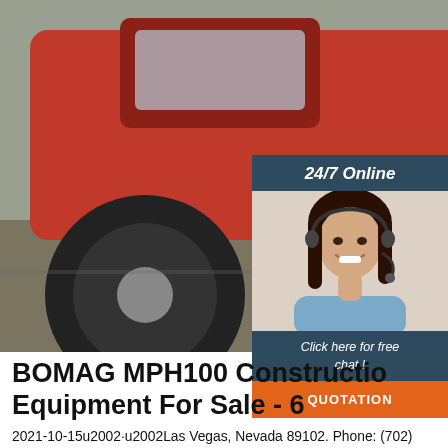[Figure (photo): Photo of red tractors/construction equipment parked outdoors]
[Figure (photo): Sidebar with '24/7 Online' header, photo of smiling customer service woman with headset, 'Click here for free chat!' text, and orange QUOTATION button]
BOMAG MPH100 Construction Equipment For Sale - 6
2021-10-15u2002·u2002Las Vegas, Nevada 89102. Phone: (702) 323-7461. visit our website. View Details. Email Seller Video Chat. Up for sale is a 1990 Bomag MPH100R Soil Stabilizer. Powered by a Detroit Diesel V6. Machine has a 80 in. cutter head, carbide teeth, 14 in. cutting depth.